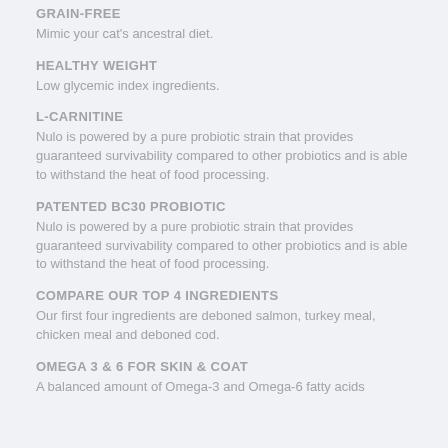GRAIN-FREE
Mimic your cat's ancestral diet.
HEALTHY WEIGHT
Low glycemic index ingredients.
L-CARNITINE
Nulo is powered by a pure probiotic strain that provides guaranteed survivability compared to other probiotics and is able to withstand the heat of food processing.
PATENTED BC30 PROBIOTIC
Nulo is powered by a pure probiotic strain that provides guaranteed survivability compared to other probiotics and is able to withstand the heat of food processing.
COMPARE OUR TOP 4 INGREDIENTS
Our first four ingredients are deboned salmon, turkey meal, chicken meal and deboned cod.
OMEGA 3 & 6 FOR SKIN & COAT
A balanced amount of Omega-3 and Omega-6 fatty acids